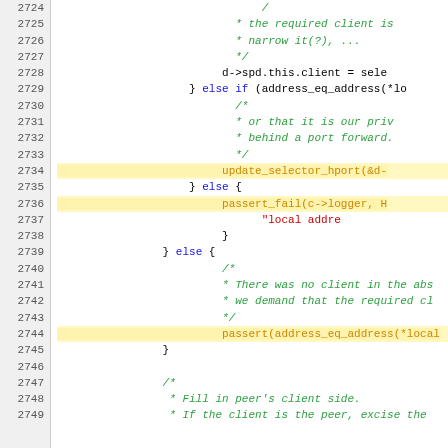[Figure (screenshot): Source code viewer showing C code lines 2724-2749, with line numbers on the left, syntax highlighting (blue keywords, green italic comments, orange highlighted function calls, red string literals), and yellow highlight background on certain function call lines.]